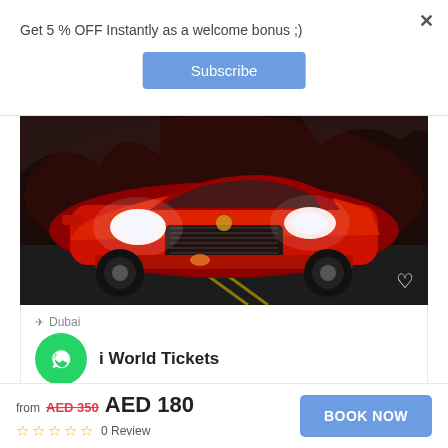Get 5 % OFF Instantly as a welcome bonus ;)
Subscribe
[Figure (photo): Red Ferrari classic sports car photographed from front, driving on a road at night with headlights on]
Dubai
i World Tickets
6 Reviews
AED 350
from AED 350 AED 180
0 Review
BOOK NOW